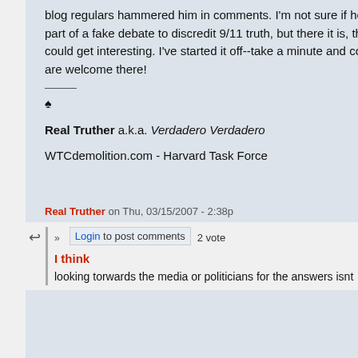blog regulars hammered him in comments. I'm not sure if he did it sincerely or as part of a fake debate to discredit 9/11 truth, but there it is, this time the comments could get interesting. I've started it off--take a minute and comment--anonymice are welcome there!
Real Truther a.k.a. Verdadero Verdadero
WTCdemolition.com - Harvard Task Force
Real Truther on Thu, 03/15/2007 - 2:38p
Login to post comments   2 votes
I think
looking torwards the media or politicians for the answers isnt
Crime and 9/11: Why Dick and Don Are Suspe
Donald Rumsfeld and the Demo of WTC 7
The "Strait of Tension in the